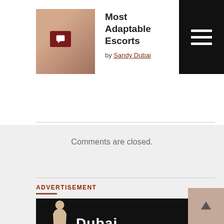[Figure (photo): Thumbnail photo of a woman with dark hair, with a red comment icon badge overlay]
Most Adaptable Escorts
by Sandy Dubai
[Figure (photo): Thumbnail photo showing legs/person, with a red comment icon badge overlay]
Find an Erotic Girlfriend Dubai
by Sandy Dubai
Comments are closed.
ADVERTISEMENT
[Figure (photo): Black banner advertisement image with a female silhouette and the word Dubai in large white letters]